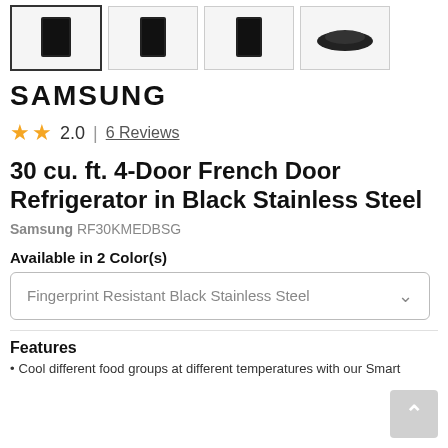[Figure (screenshot): Four product thumbnail images of a Samsung refrigerator shown from different angles, the first one highlighted with a border]
SAMSUNG
2.0 | 6 Reviews
30 cu. ft. 4-Door French Door Refrigerator in Black Stainless Steel
Samsung RF30KMEDBSG
Available in 2 Color(s)
Fingerprint Resistant Black Stainless Steel
Features
Cool different food groups at different temperatures with our Smart